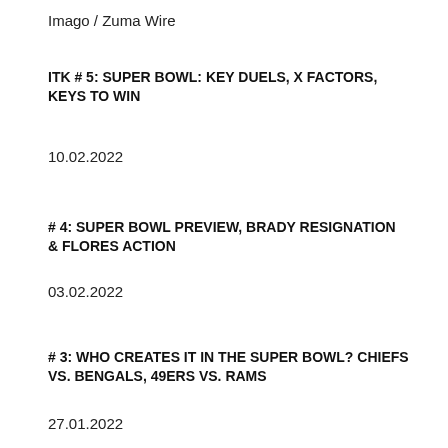Imago / Zuma Wire
ITK # 5: SUPER BOWL: KEY DUELS, X FACTORS, KEYS TO WIN
10.02.2022
# 4: SUPER BOWL PREVIEW, BRADY RESIGNATION & FLORES ACTION
03.02.2022
# 3: WHO CREATES IT IN THE SUPER BOWL? CHIEFS VS. BENGALS, 49ERS VS. RAMS
27.01.2022
# 2: DIVISIONAL DUEL DELUXE